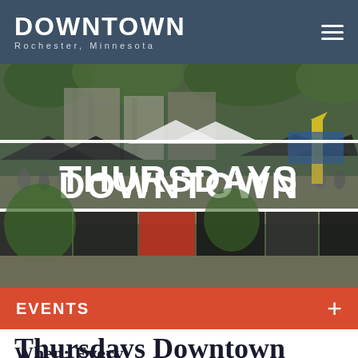DOWNTOWN Rochester, Minnesota
[Figure (photo): Aerial view of an outdoor market/street festival in downtown Rochester, Minnesota with tents, crowds of people, and trees. Text overlay reads THURSDAYS DOWNTOWN in large white bold letters.]
EVENTS +
Thursdays Downtown
When: Every